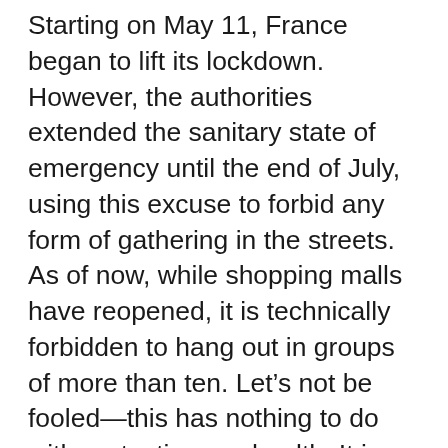Starting on May 11, France began to lift its lockdown. However, the authorities extended the sanitary state of emergency until the end of July, using this excuse to forbid any form of gathering in the streets. As of now, while shopping malls have reopened, it is technically forbidden to hang out in groups of more than ten. Let’s not be fooled—this has nothing to do with protecting our health. It is purely and simply a way to suppress any potential social unrest, as the authorities know that people are even angrier than they were before the pandemic and that they are only waiting for an opportunity to recapture the streets to express their rage. But for three weeks, that opportunity never came.

Then, a week ago, the riots in Minneapolis erupted following the police execution of George Floyd. And